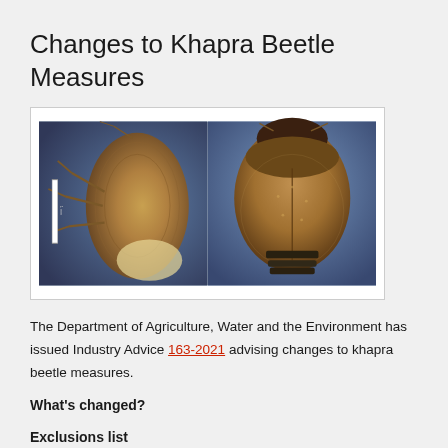Changes to Khapra Beetle Measures
[Figure (photo): Two close-up photographs of a khapra beetle side-by-side: left image shows the underside/lateral view of the beetle with a white scale bar, right image shows the dorsal view of the beetle, both against a blue background.]
The Department of Agriculture, Water and the Environment has issued Industry Advice 163-2021 advising changes to khapra beetle measures.
What's changed?
Exclusions list